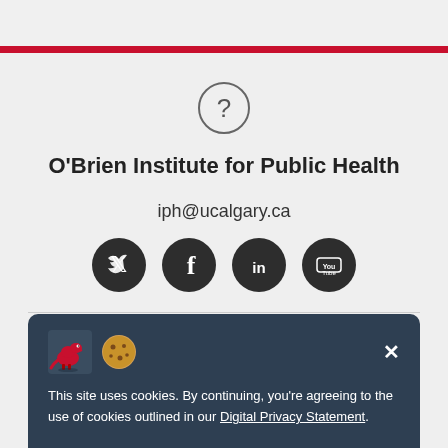[Figure (other): Red horizontal bar at top of page]
[Figure (other): Circle with question mark icon]
O'Brien Institute for Public Health
iph@ucalgary.ca
[Figure (other): Social media icons: Twitter, Facebook, LinkedIn, YouTube — dark circular buttons]
[Figure (other): Cookie consent banner with dinosaur and cookie emoji icons, close button, and text about cookies and Digital Privacy Statement]